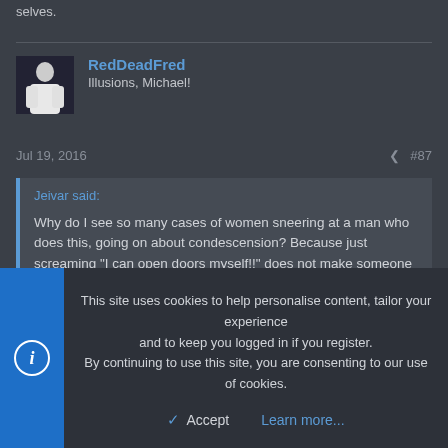selves.
RedDeadFred
Illusions, Michael!
Jul 19, 2016  #87
Jeivar said:

Why do I see so many cases of women sneering at a man who does this, going on about condescension? Because just screaming "I can open doors myself!!" does not make someone seem confident and well-adjusted.
This site uses cookies to help personalise content, tailor your experience and to keep you logged in if you register.
By continuing to use this site, you are consenting to our use of cookies.

Accept   Learn more...